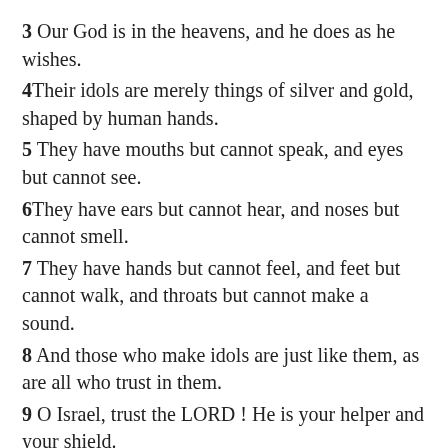3 Our God is in the heavens, and he does as he wishes.
4Their idols are merely things of silver and gold, shaped by human hands.
5 They have mouths but cannot speak, and eyes but cannot see.
6They have ears but cannot hear, and noses but cannot smell.
7 They have hands but cannot feel, and feet but cannot walk, and throats but cannot make a sound.
8 And those who make idols are just like them, as are all who trust in them.
9 O Israel, trust the LORD ! He is your helper and your shield.
10 O priests, descendants of Aaron, trust the LORD ! He is your helper and your shield.
11 All you who fear the LORD, trust the LORD ! He is your helper and your shield.